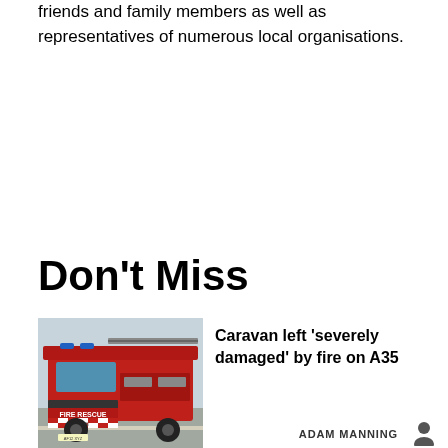friends and family members as well as representatives of numerous local organisations.
Don't Miss
[Figure (photo): A red Fire Rescue fire engine (MAN truck) parked on a road, with 'FIRE RESCUE' text on the front bumper area and checkered red/white pattern on the lower front.]
Caravan left 'severely damaged' by fire on A35
ADAM MANNING